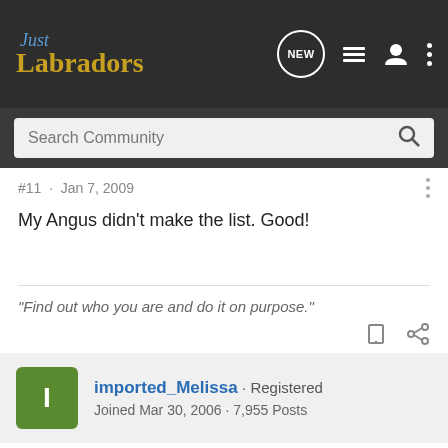Just Labradors
Search Community
#11 · Jan 7, 2009
My Angus didn't make the list. Good!
"Find out who you are and do it on purpose."
imported_Melissa · Registered
Joined Mar 30, 2006 · 7,955 Posts